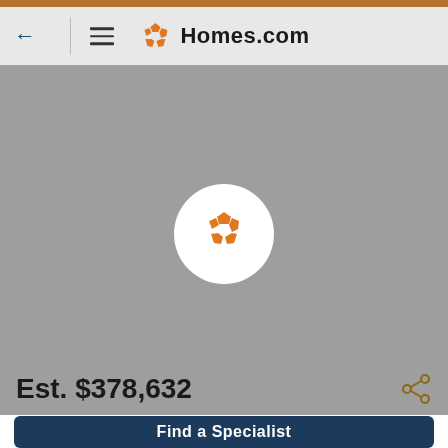[Figure (screenshot): Homes.com mobile app navigation bar with back arrow, hamburger menu, and Homes.com logo with orange pentagon icon]
[Figure (map): Gray map area with a white circle containing orange Homes.com pentagon logo icon as a map marker]
Est. $378,632
Find a Specialist